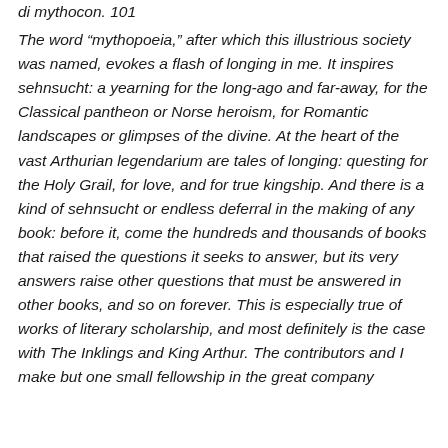di mythocon. 101
The word “mythopoeia,” after which this illustrious society was named, evokes a flash of longing in me. It inspires sehnsucht: a yearning for the long-ago and far-away, for the Classical pantheon or Norse heroism, for Romantic landscapes or glimpses of the divine. At the heart of the vast Arthurian legendarium are tales of longing: questing for the Holy Grail, for love, and for true kingship. And there is a kind of sehnsucht or endless deferral in the making of any book: before it, come the hundreds and thousands of books that raised the questions it seeks to answer, but its very answers raise other questions that must be answered in other books, and so on forever. This is especially true of works of literary scholarship, and most definitely is the case with The Inklings and King Arthur. The contributors and I make but one small fellowship in the great company